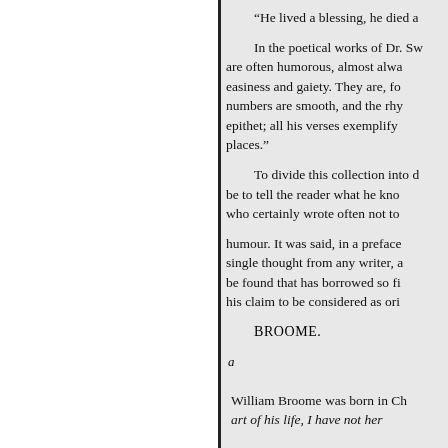“He lived a blessing, he died a
In the poetical works of Dr. Sw are often humorous, almost alwa easiness and gaiety. They are, fo numbers are smooth, and the rhy epithet; all his verses exemplify places."
To divide this collection into d be to tell the reader what he kno who certainly wrote often not to humour. It was said, in a preface single thought from any writer, a be found that has borrowed so fi his claim to be considered as ori
BROOME.
a
William Broome was born in Ch art of his life, I have not her